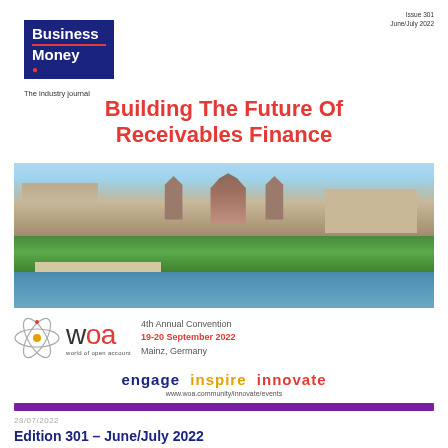[Figure (logo): Business Money magazine logo — dark navy square with white bold text 'Business Money' and red underline, tagline 'The industry journal' below]
Issue 301
June/July 2022
Building The Future Of Receivables Finance
[Figure (photo): Aerial/riverside photo of Mainz, Germany showing the cathedral, historic buildings, green trees and the Rhine river]
[Figure (logo): WOA (World of Open Account) logo with atom icon and text, 4th Annual Convention 19-20 September 2022, Mainz, Germany]
engage  inspire  innovate
www.woa.community/innovate/events
28/07/2022
Edition 301 – June/July 2022